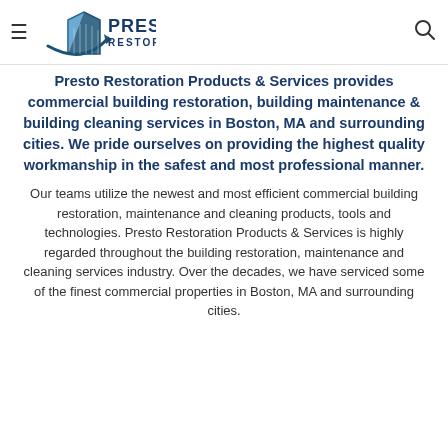Presto Restoration logo header with hamburger menu and search icon
Presto Restoration Products & Services provides commercial building restoration, building maintenance & building cleaning services in Boston, MA and surrounding cities. We pride ourselves on providing the highest quality workmanship in the safest and most professional manner.
Our teams utilize the newest and most efficient commercial building restoration, maintenance and cleaning products, tools and technologies. Presto Restoration Products & Services is highly regarded throughout the building restoration, maintenance and cleaning services industry. Over the decades, we have serviced some of the finest commercial properties in Boston, MA and surrounding cities.